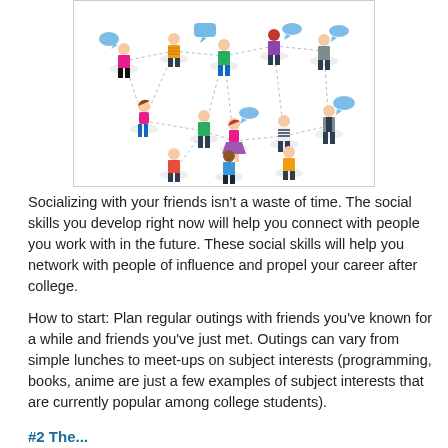[Figure (illustration): Illustration of a social network with multiple cartoon people of diverse appearances standing on circular platforms, connected by dotted lines, with blue speech/chat bubbles above them.]
Socializing with your friends isn't a waste of time. The social skills you develop right now will help you connect with people you work with in the future. These social skills will help you network with people of influence and propel your career after college.
How to start: Plan regular outings with friends you've known for a while and friends you've just met. Outings can vary from simple lunches to meet-ups on subject interests (programming, books, anime are just a few examples of subject interests that are currently popular among college students).
#2 The ...